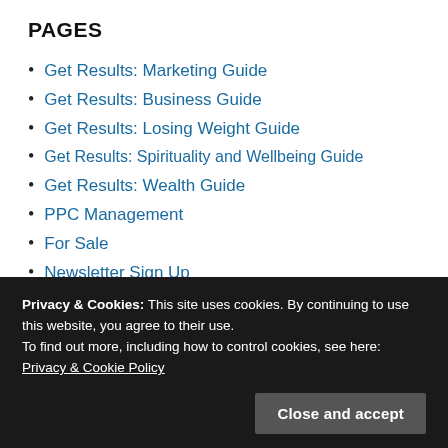PAGES
Get Results: Marketing Guide
Get Results: Business Guide
Get Results: Losing Weight Guide
Get Results: Spirituality and Wellbeing Guide
Get Results: Wealth Guide
PPC Management
For Sale
Newsletter Sign Up
The Pain Gap: The Equation of Emotion
Privacy & Cookies: This site uses cookies. By continuing to use this website, you agree to their use.
To find out more, including how to control cookies, see here: Privacy & Cookie Policy
Disclaimer